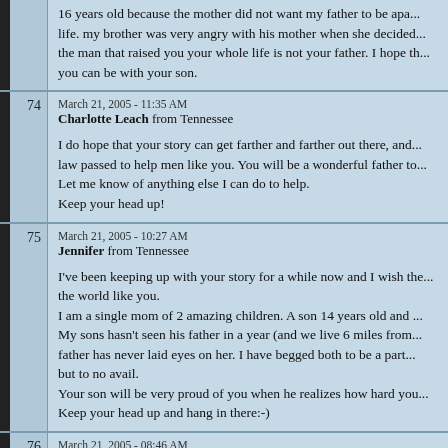16 years old because the mother did not want my father to be apart of his life. my brother was very angry with his mother when she decided to tell him the man that raised you your whole life is not your father. I hope that someday you can be with your son.
74
March 21, 2005 - 11:35 AM
Charlotte Leach from Tennessee

I do hope that your story can get farther and farther out there, and get a law passed to help men like you. You will be a wonderful father to your son. Let me know of anything else I can do to help.
Keep your head up!
75
March 21, 2005 - 10:27 AM
Jennifer from Tennessee

I've been keeping up with your story for a while now and I wish there were more in the world like you.
I am a single mom of 2 amazing children. A son 14 years old and a daughter...
My sons hasn't seen his father in a year (and we live 6 miles from him) and my daughter's father has never laid eyes on her. I have begged both to be a part of their children's lives but to no avail.
Your son will be very proud of you when he realizes how hard you fought for him.
Keep your head up and hang in there:-)
76
March 21, 2005 - 08:46 AM
Erica from PA

You WILL be a wonderful father to Caleb. Keep on fighting! If yo...